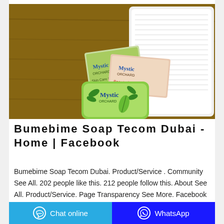[Figure (photo): Product photo showing three bars of Mystic Orchard brand soap (including 'Beauty Soap' and green bar variants) arranged on a wooden surface next to folded white towels.]
Bumebime Soap Tecom Dubai - Home | Facebook
Bumebime Soap Tecom Dubai. Product/Service . Community See All. 202 people like this. 212 people follow this. About See All. Product/Service. Page Transparency See More. Facebook is showing information to help you better understand the purpose of a Page. See actions taken by the people who manage and post content
Chat online | WhatsApp